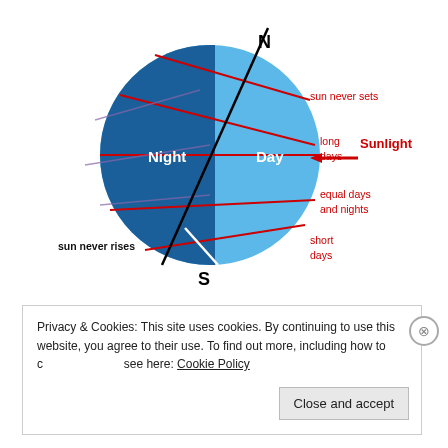[Figure (schematic): Diagram of Earth showing Day/Night hemispheres with axial tilt. A tilted axis line runs from bottom-left to top-right labeled N at top and S at bottom. The left half of the circle is dark blue (Night), the right half is light blue (Day). Red diagonal lines cross the circle. Labels: 'sun never sets' (top right, red), 'long days' (right, red), 'Sunlight' with arrow (far right, red), 'equal days and nights' (right, red), 'short days' (bottom right, red), 'sun never rises' (bottom left, black).]
Privacy & Cookies: This site uses cookies. By continuing to use this website, you agree to their use. To find out more, including how to control cookies, see here: Cookie Policy